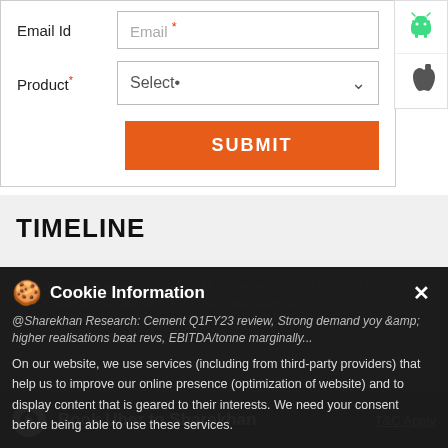[Figure (screenshot): Web form with Email field (partially visible at top), Product dropdown with Select* option, and orange SUBMIT button]
[Figure (infographic): Android app icon (green robot) and Apple iOS app icon side panel on right]
TIMELINE
[Figure (screenshot): Dark background timeline section partially visible with cookie consent banner overlaid]
Cookie Information
On our website, we use services (including from third-party providers) that help us to improve our online presence (optimization of website) and to display content that is geared to their interests. We need your consent before being able to use these services.
Book Uber to Sharekhan
T&C Apply